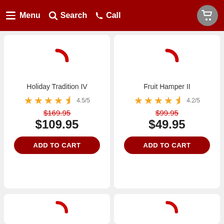Menu  Search  Call
Holiday Tradition IV
4.5/5
$169.95  $109.95  ADD TO CART
Fruit Hamper II
4.2/5
$99.95  $49.95  ADD TO CART